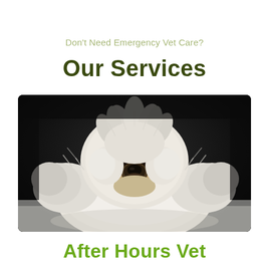Don't Need Emergency Vet Care?
Our Services
[Figure (photo): A fluffy white dog (pug mixed breed) with curly white fur against a dark/black background, looking directly at the camera with a serious expression, sitting on a white fluffy surface]
After Hours Vet